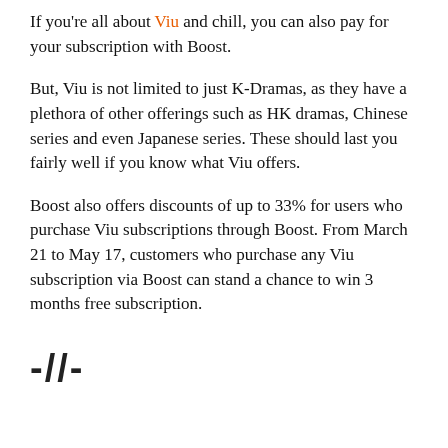If you're all about Viu and chill, you can also pay for your subscription with Boost.
But, Viu is not limited to just K-Dramas, as they have a plethora of other offerings such as HK dramas, Chinese series and even Japanese series. These should last you fairly well if you know what Viu offers.
Boost also offers discounts of up to 33% for users who purchase Viu subscriptions through Boost. From March 21 to May 17, customers who purchase any Viu subscription via Boost can stand a chance to win 3 months free subscription.
-//-